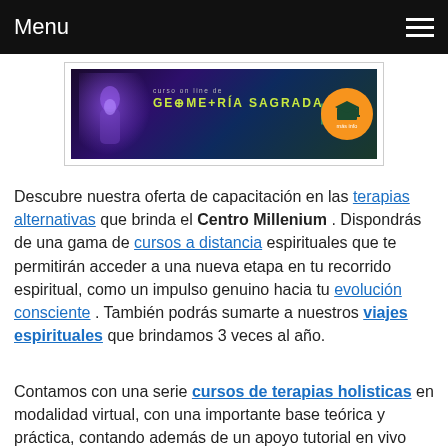Menu
[Figure (illustration): Banner for 'curso on line de GEOMETRÍA SAGRADA' with purple/blue glowing figure on left, yellow-green title text in center, orange circle with graduation cap icon on right, on dark background.]
Descubre nuestra oferta de capacitación en las terapias alternativas que brinda el Centro Millenium . Dispondrás de una gama de cursos a distancia espirituales que te permitirán acceder a una nueva etapa en tu recorrido espiritual, como un impulso genuino hacia tu evolución consciente . También podrás sumarte a nuestros viajes espirituales que brindamos 3 veces al año.
Contamos con una serie cursos de terapias holisticas en modalidad virtual, con una importante base teórica y práctica, contando además de un apoyo tutorial en vivo